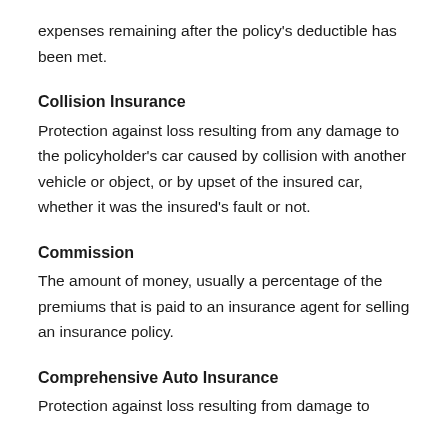expenses remaining after the policy's deductible has been met.
Collision Insurance
Protection against loss resulting from any damage to the policyholder's car caused by collision with another vehicle or object, or by upset of the insured car, whether it was the insured's fault or not.
Commission
The amount of money, usually a percentage of the premiums that is paid to an insurance agent for selling an insurance policy.
Comprehensive Auto Insurance
Protection against loss resulting from damage to